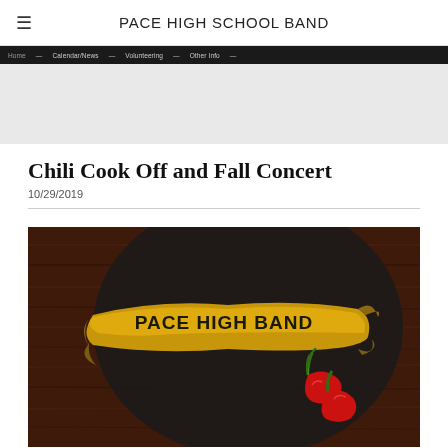PACE HIGH SCHOOL BAND
Chili Cook Off and Fall Concert
10/29/2019
[Figure (photo): Promotional image for Pace High Band Chili Cook Off and Fall Concert featuring a gold banner scroll with text 'PACE HIGH BAND' and red chili peppers on a dark background with wooden surface]